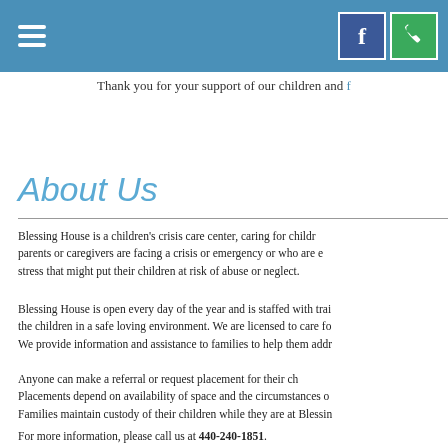Thank you for your support of our children and families
About Us
Blessing House is a children's crisis care center, caring for children whose parents or caregivers are facing a crisis or emergency or who are experiencing stress that might put their children at risk of abuse or neglect.
Blessing House is open every day of the year and is staffed with trained staff to care for the children in a safe loving environment. We are licensed to care for up to 14 children. We provide information and assistance to families to help them address their needs.
Anyone can make a referral or request placement for their children at Blessing House. Placements depend on availability of space and the circumstances of the family. Families maintain custody of their children while they are at Blessing House.
For more information, please call us at 440-240-1851.